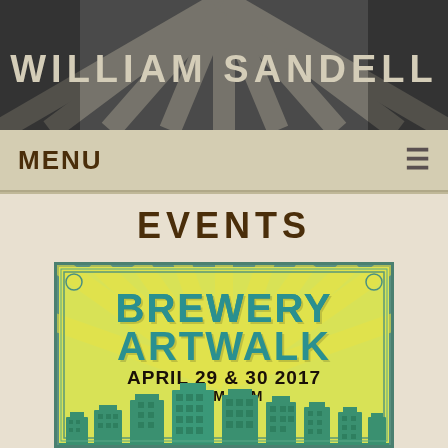WILLIAM SANDELL
MENU
EVENTS
[Figure (illustration): Brewery Artwalk event poster with art deco style, teal and yellow color scheme, showing stylized city buildings at bottom with sunrays in background. Text reads: BREWERY ARTWALK APRIL 29 & 30 2017 11AM-6PM]